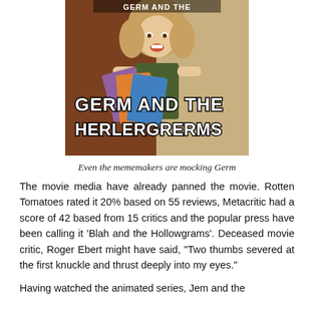[Figure (photo): A meme image showing a young girl smiling and holding what appear to be DVDs or game cases. Bold white text with black outline reads 'GERM AND THE HERLERGRERMS' overlaid on the photo.]
Even the mememakers are mocking Germ
The movie media have already panned the movie. Rotten Tomatoes rated it 20% based on 55 reviews, Metacritic had a score of 42 based from 15 critics and the popular press have been calling it 'Blah and the Hollowgrams'. Deceased movie critic, Roger Ebert might have said, "Two thumbs severed at the first knuckle and thrust deeply into my eyes."
Having watched the animated series, Jem and the